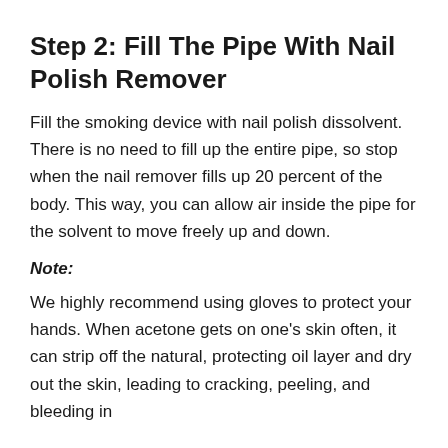Step 2: Fill The Pipe With Nail Polish Remover
Fill the smoking device with nail polish dissolvent. There is no need to fill up the entire pipe, so stop when the nail remover fills up 20 percent of the body. This way, you can allow air inside the pipe for the solvent to move freely up and down.
Note:
We highly recommend using gloves to protect your hands. When acetone gets on one's skin often, it can strip off the natural, protecting oil layer and dry out the skin, leading to cracking, peeling, and bleeding in